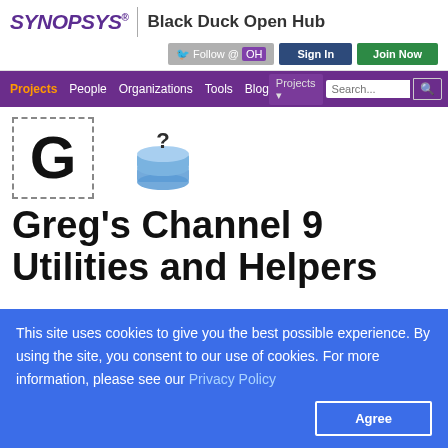SYNOPSYS | Black Duck Open Hub
[Figure (logo): Synopsys and Black Duck Open Hub logo with Follow, Sign In, and Join Now buttons]
[Figure (screenshot): Navigation bar with Projects (active/orange), People, Organizations, Tools, Blog links and search area]
[Figure (illustration): Letter G inside dashed border box (project avatar) and a stack/help icon]
Greg's Channel 9 Utilities and Helpers
This site uses cookies to give you the best possible experience. By using the site, you consent to our use of cookies. For more information, please see our Privacy Policy